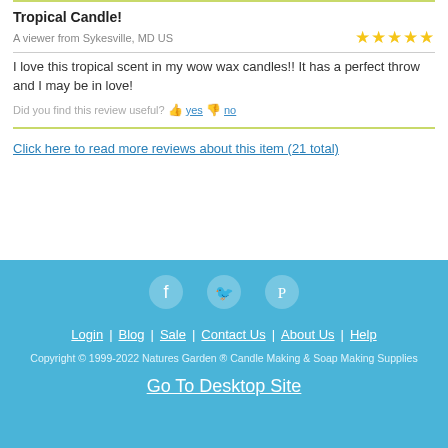Tropical Candle!
A viewer from Sykesville, MD US ★★★★★
I love this tropical scent in my wow wax candles!! It has a perfect throw and I may be in love!
Did you find this review useful? 👍 yes 👎 no
Click here to read more reviews about this item (21 total)
Login | Blog | Sale | Contact Us | About Us | Help
Copyright © 1999-2022 Natures Garden ® Candle Making & Soap Making Supplies
Go To Desktop Site